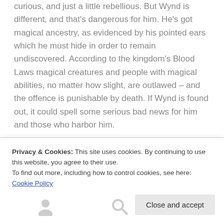curious, and just a little rebellious. But Wynd is different, and that's dangerous for him. He's got magical ancestry, as evidenced by his pointed ears which he must hide in order to remain undiscovered. According to the kingdom's Blood Laws magical creatures and people with magical abilities, no matter how slight, are outlawed – and the offence is punishable by death. If Wynd is found out, it could spell some serious bad news for him and those who harbor him.

Oakley, Wynd's friend, works for the city's engineering corps and is the order to Wynd's chaos. She makes sure
Privacy & Cookies: This site uses cookies. By continuing to use this website, you agree to their use.
To find out more, including how to control cookies, see here: Cookie Policy
Close and accept